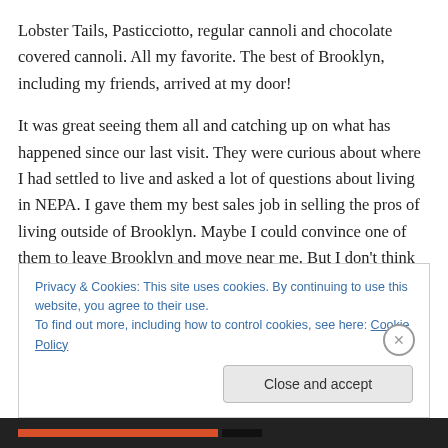Lobster Tails, Pasticciotto, regular cannoli and chocolate covered cannoli. All my favorite. The best of Brooklyn, including my friends, arrived at my door!
It was great seeing them all and catching up on what has happened since our last visit. They were curious about where I had settled to live and asked a lot of questions about living in NEPA. I gave them my best sales job in selling the pros of living outside of Brooklyn. Maybe I could convince one of them to leave Brooklyn and move near me. But I don't think there is a chance of that happening. If
Privacy & Cookies: This site uses cookies. By continuing to use this website, you agree to their use.
To find out more, including how to control cookies, see here: Cookie Policy